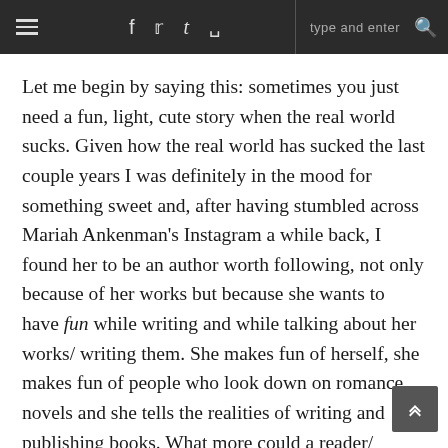≡  f  𝕥  t  ☷  type and enter  🔍
Let me begin by saying this: sometimes you just need a fun, light, cute story when the real world sucks. Given how the real world has sucked the last couple years I was definitely in the mood for something sweet and, after having stumbled across Mariah Ankenman's Instagram a while back, I found her to be an author worth following, not only because of her works but because she wants to have fun while writing and while talking about her works/ writing them. She makes fun of herself, she makes fun of people who look down on romance novels and she tells the realities of writing and publishing books. What more could a reader/ wannabe